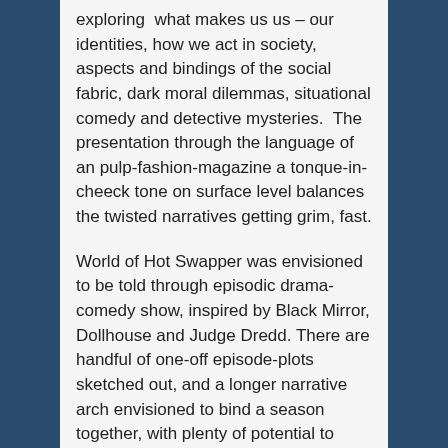exploring  what makes us us – our identities, how we act in society, aspects and bindings of the social fabric, dark moral dilemmas, situational comedy and detective mysteries.  The presentation through the language of an pulp-fashion-magazine a tonque-in-cheeck tone on surface level balances the twisted narratives getting grim, fast.
World of Hot Swapper was envisioned to be told through episodic drama-comedy show, inspired by Black Mirror, Dollhouse and Judge Dredd. There are handful of one-off episode-plots sketched out, and a longer narrative arch envisioned to bind a season together, with plenty of potential to expand.  The setting would also work for games, for example as detective-adventure told through Virtual Reality, where the